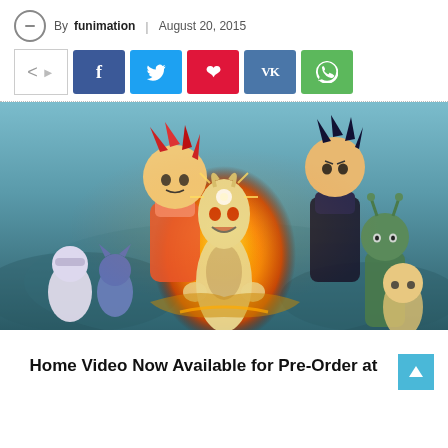By funimation | August 20, 2015
[Figure (other): Social sharing buttons row: share icon box, Facebook, Twitter, Pinterest, VK, WhatsApp]
[Figure (illustration): Dragon Ball Z Resurrection F anime movie promotional artwork featuring Golden Frieza in the center surrounded by Goku (Super Saiyan God), Vegeta, Beerus, Whis, Piccolo, Gohan, Krillin, and other characters against a teal misty background with orange flame/energy effects]
Home Video Now Available for Pre-Order at